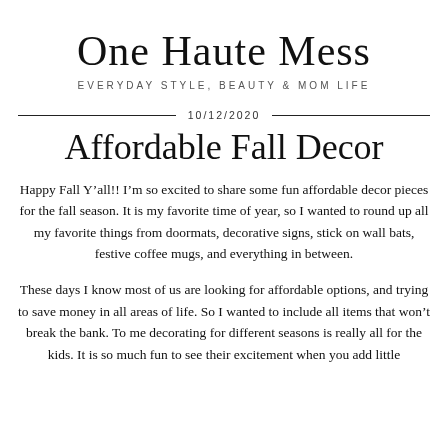One Haute Mess
EVERYDAY STYLE, BEAUTY & MOM LIFE
10/12/2020
Affordable Fall Decor
Happy Fall Y’all!! I’m so excited to share some fun affordable decor pieces for the fall season. It is my favorite time of year, so I wanted to round up all my favorite things from doormats, decorative signs, stick on wall bats, festive coffee mugs, and everything in between.
These days I know most of us are looking for affordable options, and trying to save money in all areas of life. So I wanted to include all items that won’t break the bank. To me decorating for different seasons is really all for the kids. It is so much fun to see their excitement when you add little